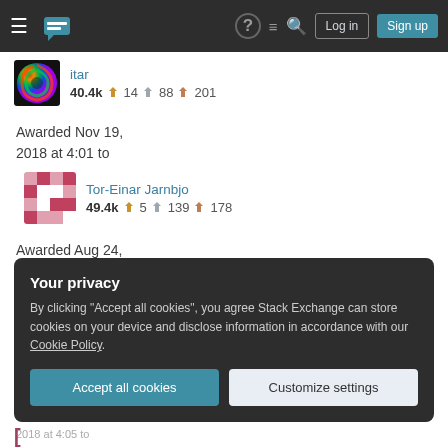Stack Exchange navigation bar with Log in and Sign up buttons
[Figure (screenshot): User avatar: colorful swirl icon (itar)]
itar
40.4k ◆14 ◆88 ◆201
Awarded Nov 19, 2018 at 4:01 to
[Figure (screenshot): User avatar: pink/red pixel pattern (Tor-Einar Jarnbjo)]
Tor-Einar Jarnbjo
49.4k ◆5 ◆139 ◆178
Awarded Aug 24, 2018 at 4:03 to
[Figure (photo): User avatar: photo of a blue ATV vehicle (Hanky Panky)]
Hanky Panky
32.5k ◆5 ◆101 ◆152
Your privacy
By clicking "Accept all cookies", you agree Stack Exchange can store cookies on your device and disclose information in accordance with our Cookie Policy.
Accept all cookies | Customize settings